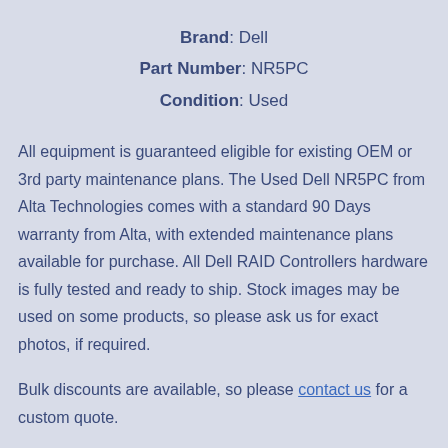Brand: Dell
Part Number: NR5PC
Condition: Used
All equipment is guaranteed eligible for existing OEM or 3rd party maintenance plans. The Used Dell NR5PC from Alta Technologies comes with a standard 90 Days warranty from Alta, with extended maintenance plans available for purchase. All Dell RAID Controllers hardware is fully tested and ready to ship. Stock images may be used on some products, so please ask us for exact photos, if required.
Bulk discounts are available, so please contact us for a custom quote.